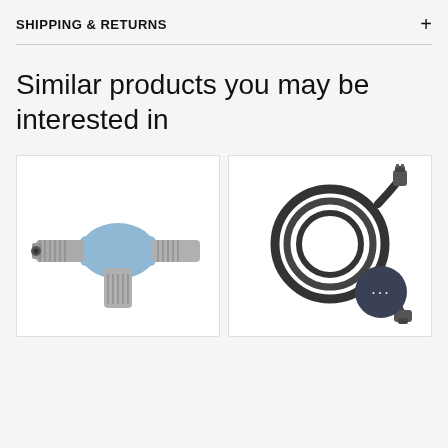SHIPPING & RETURNS
Similar products you may be interested in
[Figure (photo): T-shaped metal connector with blue plastic grip, M12 style industrial connector]
[Figure (photo): Coiled black cable with connectors on each end, industrial sensor cable]